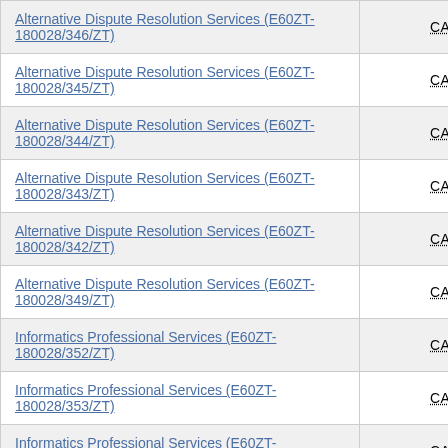| Service | Amount |
| --- | --- |
| Alternative Dispute Resolution Services (E60ZT-180028/346/ZT) | CAD 0.00 |
| Alternative Dispute Resolution Services (E60ZT-180028/345/ZT) | CAD 0.00 |
| Alternative Dispute Resolution Services (E60ZT-180028/344/ZT) | CAD 0.00 |
| Alternative Dispute Resolution Services (E60ZT-180028/343/ZT) | CAD 0.00 |
| Alternative Dispute Resolution Services (E60ZT-180028/342/ZT) | CAD 0.00 |
| Alternative Dispute Resolution Services (E60ZT-180028/349/ZT) | CAD 0.00 |
| Informatics Professional Services (E60ZT-180028/352/ZT) | CAD 0.00 |
| Informatics Professional Services (E60ZT-180028/353/ZT) | CAD 0.00 |
| Informatics Professional Services (E60ZT-180028/355/ZT) | CAD 0.00 |